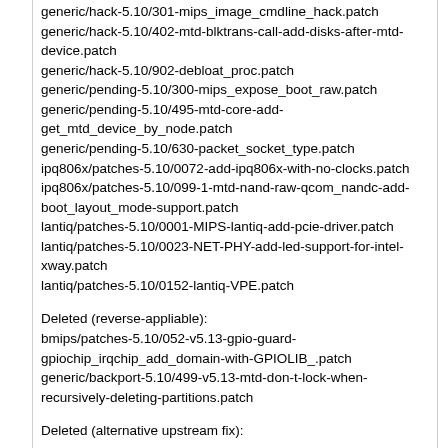generic/hack-5.10/301-mips_image_cmdline_hack.patch
generic/hack-5.10/402-mtd-blktrans-call-add-disks-after-mtd-device.patch
generic/hack-5.10/902-debloat_proc.patch
generic/pending-5.10/300-mips_expose_boot_raw.patch
generic/pending-5.10/495-mtd-core-add-get_mtd_device_by_node.patch
generic/pending-5.10/630-packet_socket_type.patch
ipq806x/patches-5.10/0072-add-ipq806x-with-no-clocks.patch
ipq806x/patches-5.10/099-1-mtd-nand-raw-qcom_nandc-add-boot_layout_mode-support.patch
lantiq/patches-5.10/0001-MIPS-lantiq-add-pcie-driver.patch
lantiq/patches-5.10/0023-NET-PHY-add-led-support-for-intel-xway.patch
lantiq/patches-5.10/0152-lantiq-VPE.patch
Deleted (reverse-appliable):
bmips/patches-5.10/052-v5.13-gpio-guard-gpiochip_irqchip_add_domain-with-GPIOLIB_.patch
generic/backport-5.10/499-v5.13-mtd-don-t-lock-when-recursively-deleting-partitions.patch
Deleted (alternative upstream fix):